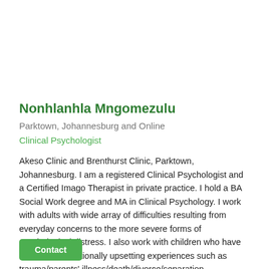Nonhlanhla Mngomezulu
Parktown, Johannesburg and Online
Clinical Psychologist
Akeso Clinic and Brenthurst Clinic, Parktown, Johannesburg. I am a registered Clinical Psychologist and a Certified Imago Therapist in private practice. I hold a BA Social Work degree and MA in Clinical Psychology. I work with adults with wide array of difficulties resulting from everyday concerns to the more severe forms of psychological distress. I also work with children who have undergone emotionally upsetting experiences such as trauma/parents' illness/death/divorce/separation.